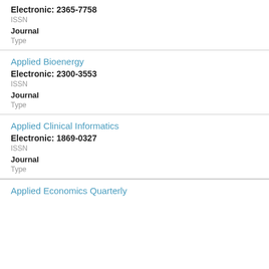Electronic: 2365-7758
ISSN
Journal
Type
Applied Bioenergy
Electronic: 2300-3553
ISSN
Journal
Type
Applied Clinical Informatics
Electronic: 1869-0327
ISSN
Journal
Type
Applied Economics Quarterly